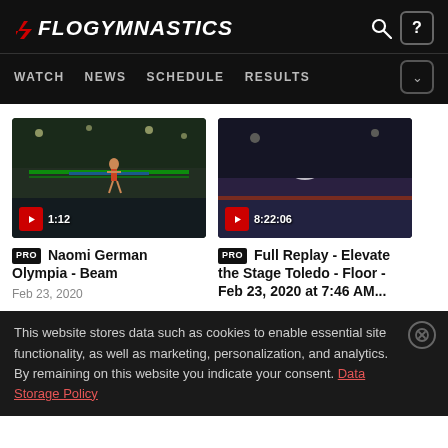FLOGYMNASTICS
WATCH  NEWS  SCHEDULE  RESULTS
[Figure (screenshot): Video thumbnail of gymnast on beam in arena, duration 1:12]
PRO Naomi German Olympia - Beam
Feb 23, 2020
[Figure (screenshot): Video thumbnail of gymnast performing floor routine, duration 8:22:06]
PRO Full Replay - Elevate the Stage Toledo - Floor - Feb 23, 2020 at 7:46 AM...
This website stores data such as cookies to enable essential site functionality, as well as marketing, personalization, and analytics. By remaining on this website you indicate your consent. Data Storage Policy